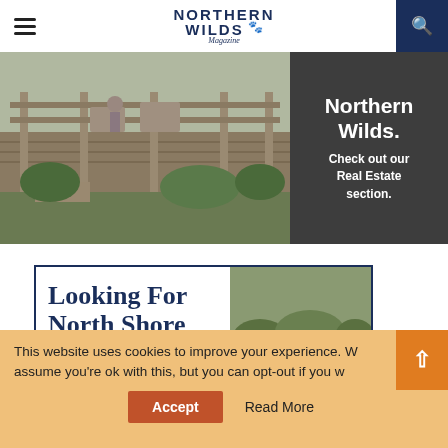Northern Wilds Magazine
[Figure (photo): Advertisement banner showing a wooden deck with garden greenery on the left and dark panel on the right reading 'Northern Wilds. Check out our Real Estate section.']
[Figure (screenshot): Article card with title 'Looking for North Shore' in large serif font and a waterfall/cliff photo on the right]
This website uses cookies to improve your experience. We assume you're ok with this, but you can opt-out if you wish.
Accept
Read More